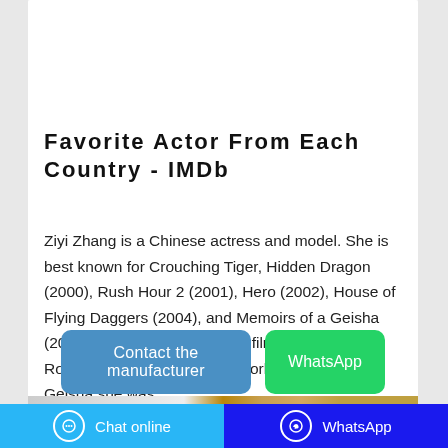[Figure (photo): Partial product image at top of card, appears to be a packaged food or beverage product with green and blue packaging]
Favorite Actor From Each Country - IMDb
Ziyi Zhang is a Chinese actress and model. She is best known for Crouching Tiger, Hidden Dragon (2000), Rush Hour 2 (2001), Hero (2002), House of Flying Daggers (2004), and Memoirs of a Geisha (2005). She made her feature film debut in The Road Home (1999). For her work in Memoirs of a Geisha she was...
[Figure (screenshot): Two buttons: 'Contact the manufacturer' in blue and 'WhatsApp' in green]
[Figure (photo): Bottom partial image showing wood grain and light gray fabric or material]
Chat online   WhatsApp